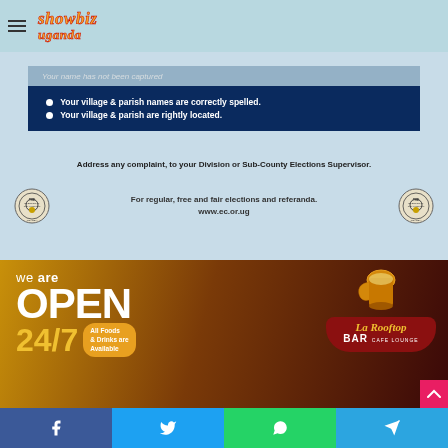showbiz uganda
[Figure (infographic): Electoral Commission of Uganda notice about voter register verification. Blue banner with bullet points: 'Your village & parish names are correctly spelled.' and 'Your village & parish are rightly located.' With text: 'Address any complaint, to your Division or Sub-County Elections Supervisor.' Two EC logos flanking center text: 'For regular, free and fair elections and referanda. www.ec.or.ug']
[Figure (infographic): La Rooftop Bar Cafe Lounge advertisement. Dark brown/gold background. Text: 'we are OPEN 24/7 All Foods & Drinks are Available'. La Rooftop Bar logo on right side.]
Facebook | Twitter | WhatsApp | Telegram